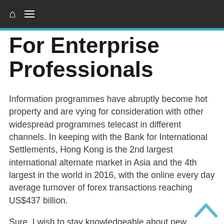For Enterprise Professionals
Information programmes have abruptly become hot property and are vying for consideration with other widespread programmes telecast in different channels. In keeping with the Bank for International Settlements, Hong Kong is the 2nd largest international alternate market in Asia and the 4th largest in the world in 2016, with the online every day average turnover of forex transactions reaching US$437 billion.
Sure, I wish to stay knowledgeable about new newsletters, editorial content, research reports,